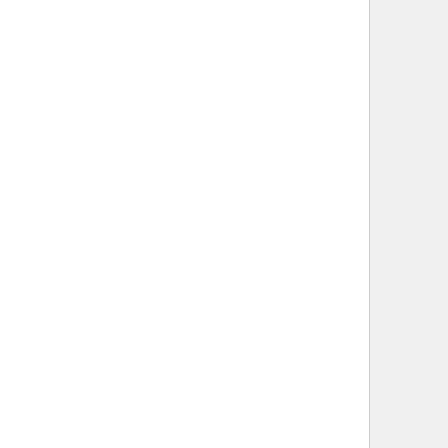NCAR - EarthObservingLaborator